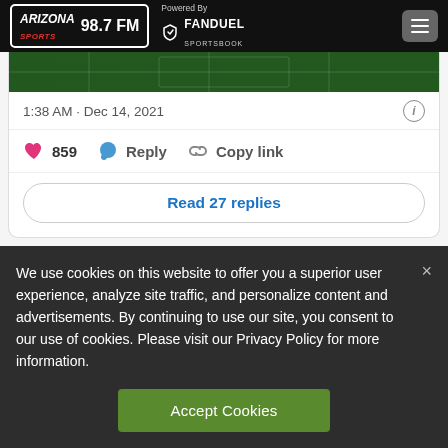Arizona Sports 98.7 FM — Powered By FanDuel Sportsbook
[Figure (screenshot): Partial tweet card showing a football field image strip at top]
1:38 AM · Dec 14, 2021
859  Reply  Copy link
Read 27 replies
We use cookies on this website to offer you a superior user experience, analyze site traffic, and personalize content and advertisements. By continuing to use our site, you consent to our use of cookies. Please visit our Privacy Policy for more information.
Accept Cookies